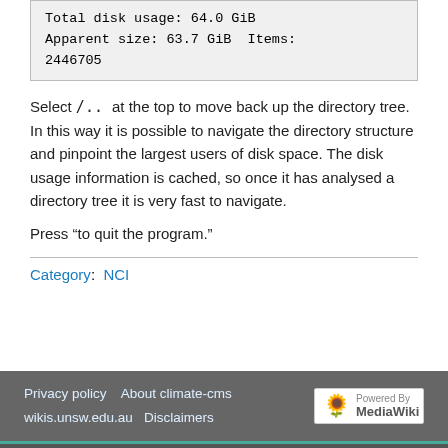Total disk usage: 64.0 GiB
Apparent size: 63.7 GiB  Items: 2446705
Select /.. at the top to move back up the directory tree. In this way it is possible to navigate the directory structure and pinpoint the largest users of disk space. The disk usage information is cached, so once it has analysed a directory tree it is very fast to navigate.
Press "to quit the program."
Category:  NCI
Privacy policy    About climate-cms wikis.unsw.edu.au    Disclaimers